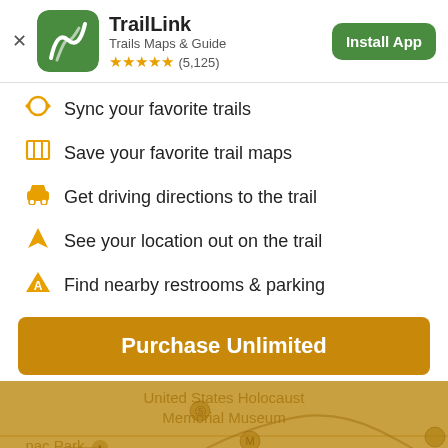[Figure (screenshot): TrailLink app header with green icon, app name, subtitle, star rating, and Install App button]
Sync your favorite trails
Save your favorite trail maps
Get driving directions to the trail
See your location out on the trail
Find nearby restrooms & parking
Purchase Unlimited
[Figure (map): Map showing United States Holocaust Memorial Museum and surrounding area with golden overlay]
[Figure (other): Yellow-green bottom bar]